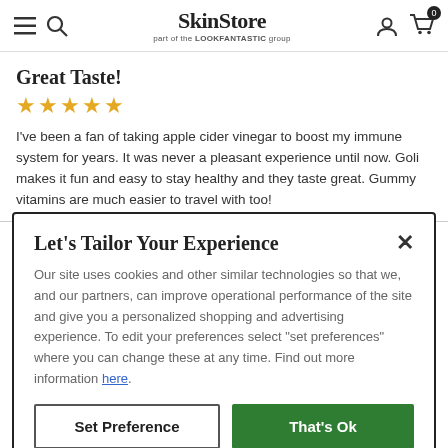SkinStore — part of the LOOKFANTASTIC group
Great Taste!
I've been a fan of taking apple cider vinegar to boost my immune system for years. It was never a pleasant experience until now. Goli makes it fun and easy to stay healthy and they taste great. Gummy vitamins are much easier to travel with too!
Let's Tailor Your Experience
Our site uses cookies and other similar technologies so that we, and our partners, can improve operational performance of the site and give you a personalized shopping and advertising experience. To edit your preferences select "set preferences" where you can change these at any time. Find out more information here.